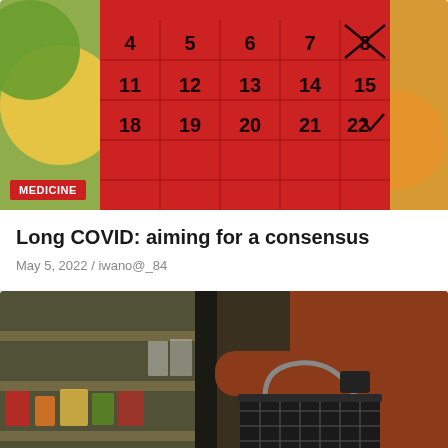[Figure (photo): Colorful calendar with dates and X marks, red background with puzzle pieces]
MEDICINE
Long COVID: aiming for a consensus
May 5, 2022 / iwano@_84
[Figure (photo): Woman in rust-colored sweater holding a shopping basket in a grocery store, reaching for items on shelves]
HEALTH